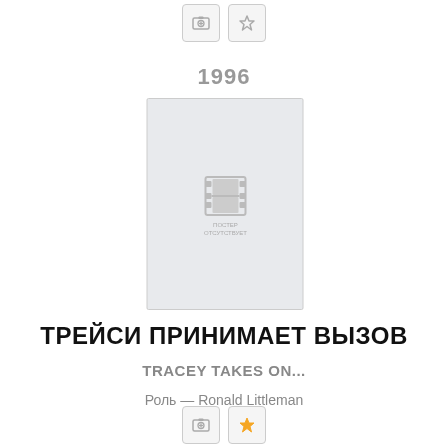[Figure (screenshot): Top icon buttons: add-to-collection and star/favorite, grayed out]
1996
[Figure (photo): Movie poster placeholder with film strip icon and text ПОСТЕР ОТСУТСТВУЕТ (poster absent) on light blue-gray background]
ТРЕЙСИ ПРИНИМАЕТ ВЫЗОВ
TRACEY TAKES ON...
Роль — Ronald Littleman
[Figure (screenshot): Bottom icon buttons: add-to-collection (camera+) and star/favorite (filled gold)]